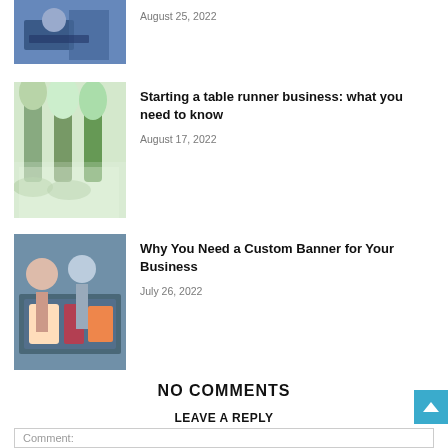[Figure (photo): Partial view of two people working on a laptop, top of page]
August 25, 2022
[Figure (photo): Floral arrangement with white flowers in vases near a window]
Starting a table runner business: what you need to know
August 17, 2022
[Figure (photo): Two people looking at printed banner materials on a table]
Why You Need a Custom Banner for Your Business
July 26, 2022
NO COMMENTS
LEAVE A REPLY
Comment: